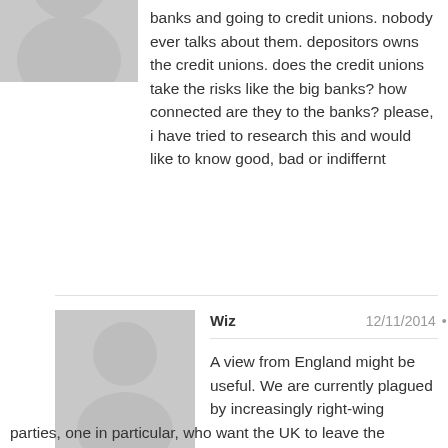[Figure (illustration): Grey avatar/silhouette icon of a person, partially cropped at top-left]
banks and going to credit unions. nobody ever talks about them. depositors owns the credit unions. does the credit unions take the risks like the big banks? how connected are they to the banks? please, i have tried to research this and would like to know good, bad or indiffernt
[Figure (illustration): Grey avatar/silhouette icon of a person]
Wiz   12/11/2014 • Reply
A view from England might be useful. We are currently plagued by increasingly right-wing parties, one in particular, who want the UK to leave the European Union. This 'policy' gains a lot of traction because of the mess the Euro has made of the economies of many southern European states, who initially found they could afford to import loads of BMWs from Germany, which accordingly boomed for a while, and then found they couldn't inflate their currency when they needed to. The result is a programme of austerity which the Greeks, it seems, are about to reject. If they elect a left-wing government, which seems likely, the EU will be torn apart when the austerity diet insisted on by the European Central Bank is rejected. Although the ECB doesn't have the